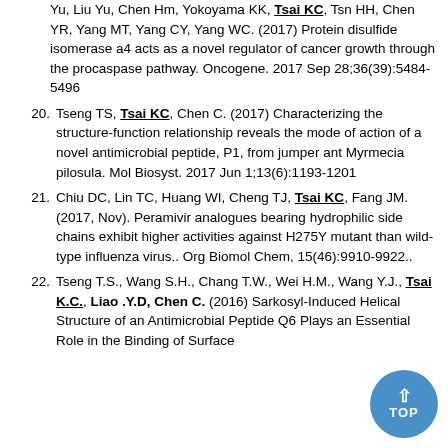Yu, Liu Yu, Chen Hm, Yokoyama KK, Tsai KC, Tsn HH, Chen YR, Yang MT, Yang CY, Yang WC. (2017) Protein disulfide isomerase a4 acts as a novel regulator of cancer growth through the procaspase pathway. Oncogene. 2017 Sep 28;36(39):5484-5496
20. Tseng TS, Tsai KC, Chen C. (2017) Characterizing the structure-function relationship reveals the mode of action of a novel antimicrobial peptide, P1, from jumper ant Myrmecia pilosula. Mol Biosyst. 2017 Jun 1;13(6):1193-1201
21. Chiu DC, Lin TC, Huang WI, Cheng TJ, Tsai KC, Fang JM. (2017, Nov). Peramivir analogues bearing hydrophilic side chains exhibit higher activities against H275Y mutant than wild-type influenza virus.. Org Biomol Chem, 15(46):9910-9922..
22. Tseng T.S., Wang S.H., Chang T.W., Wei H.M., Wang Y.J., Tsai K.C., Liao .Y.D, Chen C. (2016) Sarkosyl-Induced Helical Structure of an Antimicrobial Peptide Q6 Plays an Essential Role in the Binding of Surface